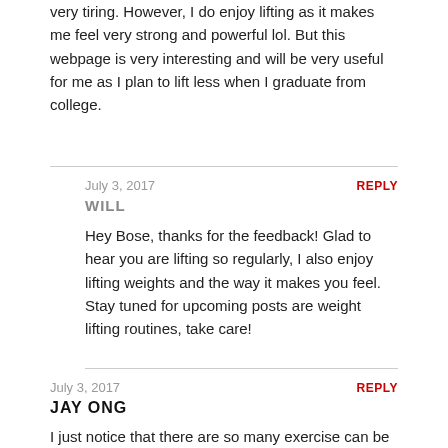very tiring. However, I do enjoy lifting as it makes me feel very strong and powerful lol. But this webpage is very interesting and will be very useful for me as I plan to lift less when I graduate from college.
July 3, 2017
REPLY
WILL
Hey Bose, thanks for the feedback! Glad to hear you are lifting so regularly, I also enjoy lifting weights and the way it makes you feel. Stay tuned for upcoming posts are weight lifting routines, take care!
July 3, 2017
REPLY
JAY ONG
I just notice that there are so many exercise can be done at home. All I did at home is crunches and push ups and